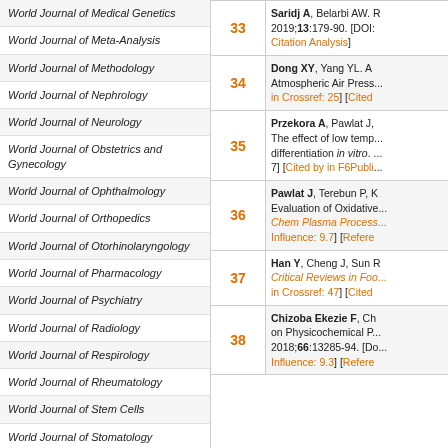World Journal of Medical Genetics
World Journal of Meta-Analysis
World Journal of Methodology
World Journal of Nephrology
World Journal of Neurology
World Journal of Obstetrics and Gynecology
World Journal of Ophthalmology
World Journal of Orthopedics
World Journal of Otorhinolaryngology
World Journal of Pharmacology
World Journal of Psychiatry
World Journal of Radiology
World Journal of Respirology
World Journal of Rheumatology
World Journal of Stem Cells
World Journal of Stomatology
World Journal of Surgical Procedures
World Journal of Translational Medicine
| Ref# | Reference text |
| --- | --- |
| 33 | Saridj A, Belarbi AW. ... 2019;13:179-90. [DOI:... Citation Analysis] |
| 34 | Dong XY, Yang YL. A... Atmospheric Air Press... in Crossref: 25] [Cited... |
| 35 | Przekora A, Pawlat J,... The effect of low temp... differentiation in vitro. ... 7] [Cited by in F6Publi... |
| 36 | Pawlat J, Terebun P, K... Evaluation of Oxidative... Chem Plasma Process... Influence: 9.7] [Refere... |
| 37 | Han Y, Cheng J, Sun R... Critical Reviews in Foo... in Crossref: 47] [Cited... |
| 38 | Chizoba Ekezie F, Ch... on Physicochemical P... 2018;66:13285-94. [Do... Influence: 9.3] [Refere... |